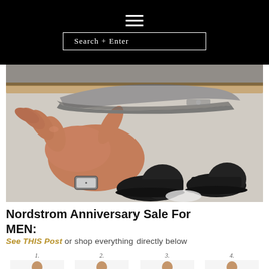≡  Search + Enter
[Figure (photo): Close-up photo of a hand holding a grey suede cap, with men's dress shoes (black leather) visible below on a white surface. Appears to be a Nordstrom Anniversary Sale product showcase.]
Nordstrom Anniversary Sale For MEN:
See THIS Post or shop everything directly below
[Figure (photo): Row of four men's clothing product thumbnails numbered 1, 2, 3, 4. 1: Man in navy suit with lavender tie. 2: Man in charcoal suit with purple tie. 3: Man in blue gingham shirt. 4: Man in light purple polo shirt.]